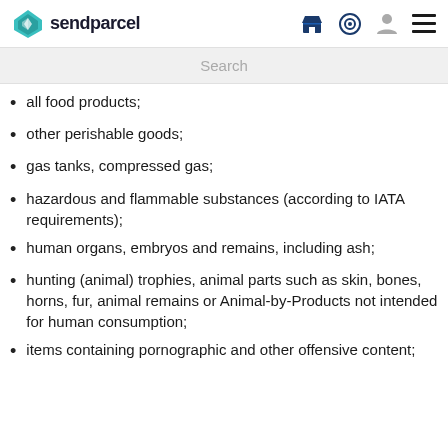sendparcel
Search
all food products;
other perishable goods;
gas tanks, compressed gas;
hazardous and flammable substances (according to IATA requirements);
human organs, embryos and remains, including ash;
hunting (animal) trophies, animal parts such as skin, bones, horns, fur, animal remains or Animal-by-Products not intended for human consumption;
items containing pornographic and other offensive content;